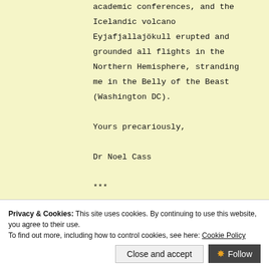academic conferences, and the Icelandic volcano Eyjafjallajökull erupted and grounded all flights in the Northern Hemisphere, stranding me in the Belly of the Beast (Washington DC).
Yours precariously,
Dr Noel Cass
***
Dear subtext,
You report in recent issues of subtext that the decision to
that the reverse will be th
Privacy & Cookies: This site uses cookies. By continuing to use this website, you agree to their use.
To find out more, including how to control cookies, see here: Cookie Policy
Close and accept
Follow